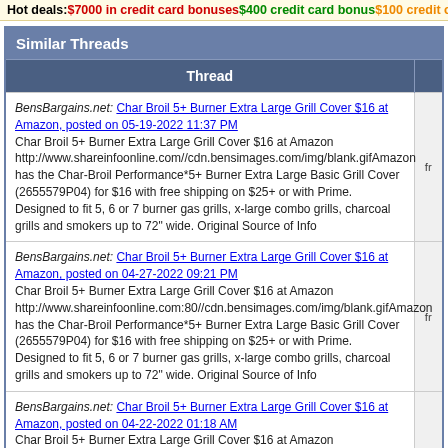Hot deals: $7000 in credit card bonuses $400 credit card bonus $100 credit card bo...
Similar Threads
| Thread |  |
| --- | --- |
| BensBargains.net: Char Broil 5+ Burner Extra Large Grill Cover $16 at Amazon, posted on 05-19-2022 11:37 PM
Char Broil 5+ Burner Extra Large Grill Cover $16 at Amazon http://www.shareinfoonline.com//cdn.bensimages.com/img/blank.gifAmazon has the Char-Broil Performance*5+ Burner Extra Large Basic Grill Cover (2655579P04) for $16 with free shipping on $25+ or with Prime. Designed to fit 5, 6 or 7 burner gas grills, x-large combo grills, charcoal grills and smokers up to 72" wide. Original Source of Info | fro |
| BensBargains.net: Char Broil 5+ Burner Extra Large Grill Cover $16 at Amazon, posted on 04-27-2022 09:21 PM
Char Broil 5+ Burner Extra Large Grill Cover $16 at Amazon http://www.shareinfoonline.com:80//cdn.bensimages.com/img/blank.gifAmazon has the Char-Broil Performance*5+ Burner Extra Large Basic Grill Cover (2655579P04) for $16 with free shipping on $25+ or with Prime. Designed to fit 5, 6 or 7 burner gas grills, x-large combo grills, charcoal grills and smokers up to 72" wide. Original Source of Info | fro |
| BensBargains.net: Char Broil 5+ Burner Extra Large Grill Cover $16 at Amazon, posted on 04-22-2022 01:18 AM
Char Broil 5+ Burner Extra Large Grill Cover $16 at Amazon http://www.shareinfoonline.com//cdn.bensimages.com/img/blank.gifAmazon has the Char-Broil Performance*5+ Burner Extra Large Basic Grill Cover (2655579P04) for $16 with free shipping on $25+ or with Prime. Designed to fit 5, 6 or 7 burner gas grills, x-large combo grills, charcoal grills and smokers up to 72" wide. Original Source of Info | fro |
| BensBargains.net: Char Broil 5+ Burner Extra Large Grill Cover $16 at Amazon, posted on 04-10-2022 10:24 PM
Char Broil 5+ Burner Extra Large Grill Cover $16 at Amazon |  |